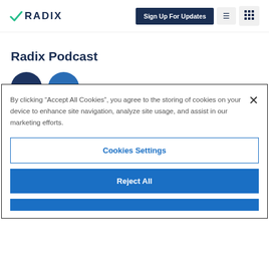[Figure (logo): Radix logo with checkmark and bold text RADIX]
Sign Up For Updates
Radix Podcast
By clicking “Accept All Cookies”, you agree to the storing of cookies on your device to enhance site navigation, analyze site usage, and assist in our marketing efforts.
Cookies Settings
Reject All